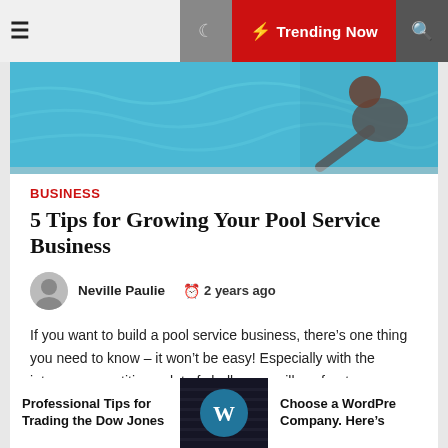≡  🌙  ⚡ Trending Now  🔍
[Figure (photo): Hero image showing a person working near a swimming pool with blue water]
Business
5 Tips for Growing Your Pool Service Business
Neville Paulie   🕐 2 years ago
If you want to build a pool service business, there's one thing you need to know – it won't be easy! Especially with the intense competition, a lot of challenges will confront your operations. In this article, we'll talk about some of the best things to do to help in [...]
Professional Tips for Trading the Dow Jones
[Figure (logo): WordPress logo (W in a blue circle) against a dark server room background]
Choose a WordPress Company. Here's